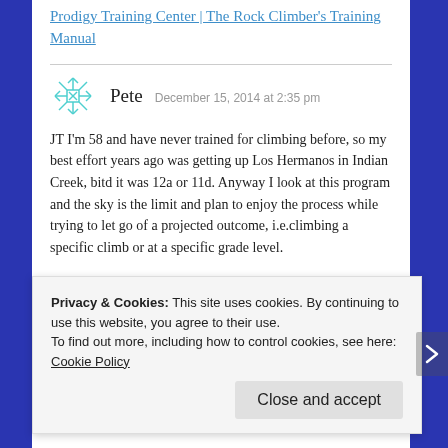Prodigy Training Center | The Rock Climber's Training Manual
Pete  December 15, 2014 at 2:35 pm
JT I'm 58 and have never trained for climbing before, so my best effort years ago was getting up Los Hermanos in Indian Creek, bitd it was 12a or 11d. Anyway I look at this program and the sky is the limit and plan to enjoy the process while trying to let go of a projected outcome, i.e.climbing a specific climb or at a specific grade level.
Privacy & Cookies: This site uses cookies. By continuing to use this website, you agree to their use.
To find out more, including how to control cookies, see here: Cookie Policy
Close and accept